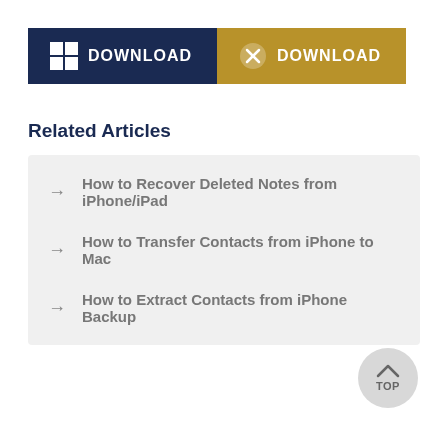[Figure (other): Two download buttons side by side: a dark navy blue Windows download button and a gold/amber macOS download button, each with their respective OS icons and the word DOWNLOAD in white bold text.]
Related Articles
How to Recover Deleted Notes from iPhone/iPad
How to Transfer Contacts from iPhone to Mac
How to Extract Contacts from iPhone Backup
[Figure (other): A circular grey 'TOP' button with an upward arrow, used for scrolling back to the top of the page.]